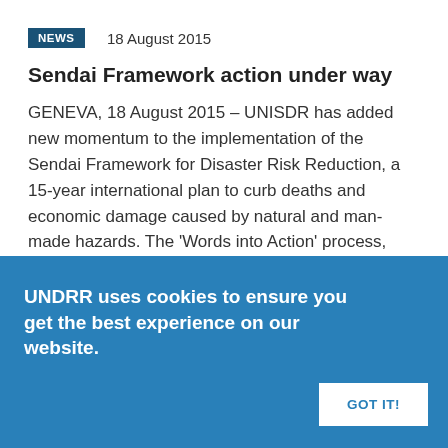NEWS   18 August 2015
Sendai Framework action under way
GENEVA, 18 August 2015 – UNISDR has added new momentum to the implementation of the Sendai Framework for Disaster Risk Reduction, a 15-year international plan to curb deaths and economic damage caused by natural and man-made hazards. The 'Words into Action' process, launched today, will gather experts from around the globe to shape by the end of 2016 a…
NEWS   9 March 2016
UNDRR uses cookies to ensure you get the best experience on our website.